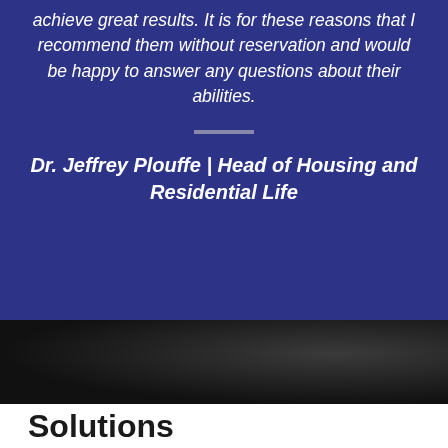achieve great results. It is for these reasons that I recommend them without reservation and would be happy to answer any questions about their abilities.
Dr. Jeffrey Plouffe | Head of Housing and Residential Life
[Figure (photo): Dark background photo section, nearly black with a faint light glow on the right side]
Solutions